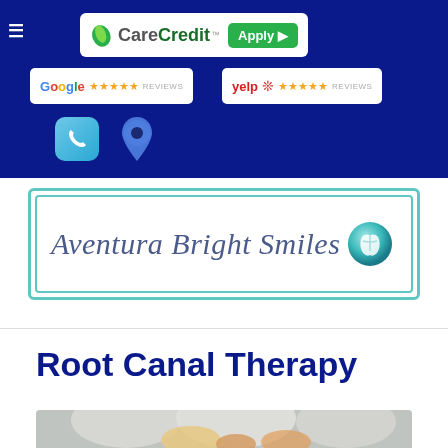[Figure (logo): CareCredit Apply button logo on dark blue navigation bar]
[Figure (logo): Google 5-star Reviews badge]
[Figure (logo): Yelp 5-star Reviews badge]
[Figure (illustration): Phone icon (teal rounded square) and location pin icon on dark blue bar]
[Figure (logo): Aventura Bright Smiles dental practice logo with tooth icon, teal double border]
Root Canal Therapy
[Figure (photo): Close-up dental illustration showing teeth for root canal therapy content]